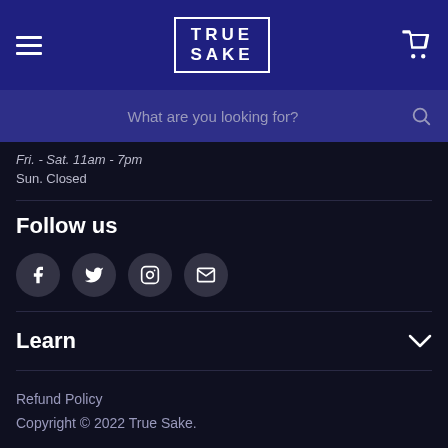TRUE SAKE
What are you looking for?
Fri. - Sat. 11am - 7pm
Sun. Closed
Follow us
[Figure (infographic): Social media icons: Facebook, Twitter, Instagram, Email]
Learn
Refund Policy
Copyright © 2022 True Sake.